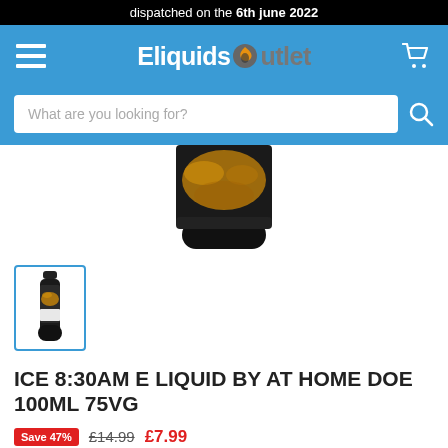dispatched on the 6th june 2022
[Figure (logo): Eliquids Outlet navigation bar with hamburger menu, logo, and cart icon]
[Figure (screenshot): Search bar with placeholder text 'What are you looking for?' and search icon]
[Figure (photo): Product image - bottom portion of a black e-liquid bottle with dark and gold label design]
[Figure (photo): Small thumbnail of the full e-liquid bottle product image, selected with blue border]
ICE 8:30AM E LIQUID BY AT HOME DOE 100ML 75VG
Save 47%  £14.99  £7.99